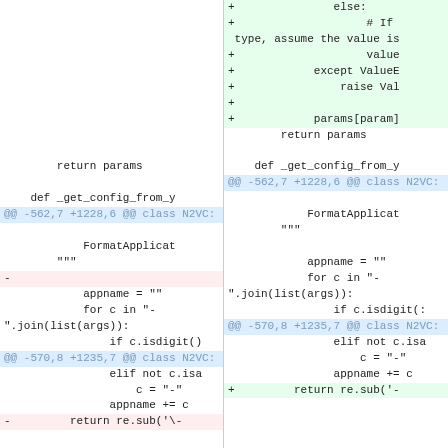[Figure (screenshot): Side-by-side diff view of Python source code showing two panes. Left pane shows original code, right pane shows modified code with additions (green background) and deletions (red background). Diff includes lines for else block, value, except ValueError, raise Val, params[param], return params, def _get_config_from_y, hunk headers, FormatApplicationName, appname, for c in, join, isdigit, elif, c = '-', appname += c, and return re.sub.]